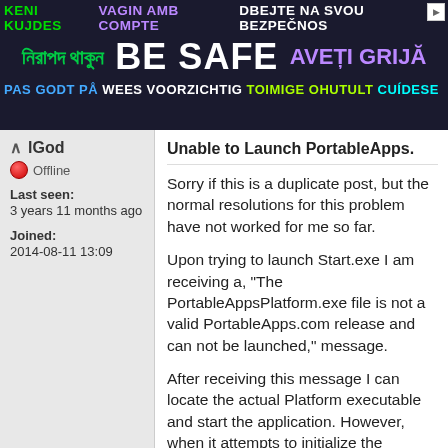[Figure (screenshot): Multilingual safety banner advertisement with text in multiple languages including Bengali, Czech/Slovak, Dutch, Estonian, Spanish, and English 'BE SAFE' in large white letters on dark background]
lGod
Offline
Last seen:
3 years 11 months ago
Joined:
2014-08-11 13:09
Unable to Launch PortableApps.
Sorry if this is a duplicate post, but the normal resolutions for this problem have not worked for me so far.
Upon trying to launch Start.exe I am receiving a, "The PortableAppsPlatform.exe file is not a valid PortableApps.com release and can not be launched," message.
After receiving this message I can locate the actual Platform executable and start the application. However, when it attempts to initialize the updater I receive, "The PortableApps.com Updater or App Directory is already running. This could be the PortableApps.com